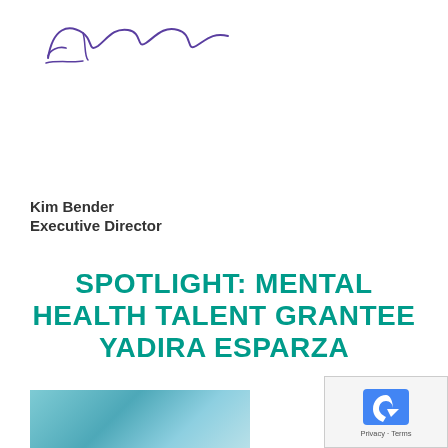[Figure (illustration): Handwritten signature in purple/blue ink, cursive script resembling 'Kim Bender']
Kim Bender
Executive Director
SPOTLIGHT: MENTAL HEALTH TALENT GRANTEE YADIRA ESPARZA
[Figure (photo): Partial photo visible at bottom of page, appears to show a person with blue/teal tones]
[Figure (other): reCAPTCHA badge with Privacy and Terms links]